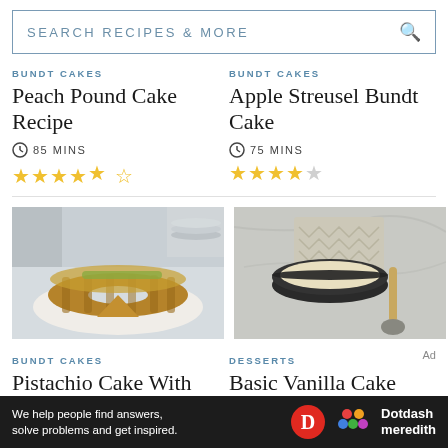SEARCH RECIPES & MORE
BUNDT CAKES
Peach Pound Cake Recipe
85 MINS
★★★★½
BUNDT CAKES
Apple Streusel Bundt Cake
75 MINS
★★★★☆
[Figure (photo): Pistachio bundt cake sliced on a white plate, topped with green pistachio crumble, on a light wood surface]
[Figure (photo): A dark round bowl filled with white vanilla sauce/cream, with a small spoon beside it on a marble surface with a chevron cloth]
BUNDT CAKES
Pistachio Cake With
DESSERTS
Basic Vanilla Cake
Ad
We help people find answers, solve problems and get inspired.
Dotdash meredith